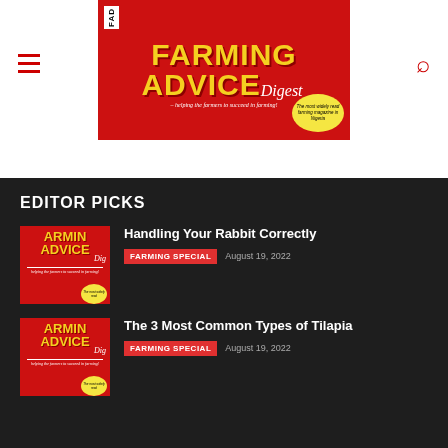[Figure (logo): FAD Farming Advice Digest magazine logo on red background with yellow text, tagline 'helping the farmers to succeed in farming!' and yellow oval 'The most widely read farming magazine in Nigeria']
EDITOR PICKS
[Figure (photo): Thumbnail of FAD Farming Advice Digest magazine cover]
Handling Your Rabbit Correctly
FARMING SPECIAL   August 19, 2022
[Figure (photo): Thumbnail of FAD Farming Advice Digest magazine cover]
The 3 Most Common Types of Tilapia
FARMING SPECIAL   August 19, 2022